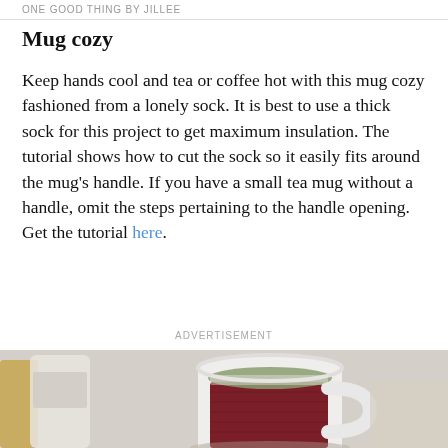ONE GOOD THING BY JILLEE
Mug cozy
Keep hands cool and tea or coffee hot with this mug cozy fashioned from a lonely sock. It is best to use a thick sock for this project to get maximum insulation. The tutorial shows how to cut the sock so it easily fits around the mug's handle. If you have a small tea mug without a handle, omit the steps pertaining to the handle opening. Get the tutorial here.
ADVERTISEMENT
[Figure (photo): A white ceramic mug with a dark red/maroon knitted sock cozy around it, containing tea, on a white surface with blurred background items.]